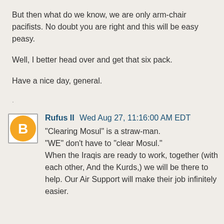But then what do we know, we are only arm-chair pacifists. No doubt you are right and this will be easy peasy.
Well, I better head over and get that six pack.
Have a nice day, general.
.
[Figure (logo): Blogger avatar icon — orange circle with white letter B]
Rufus II Wed Aug 27, 11:16:00 AM EDT
"Clearing Mosul" is a straw-man.
"WE" don't have to "clear Mosul."
When the Iraqis are ready to work, together (with each other, And the Kurds,) we will be there to help. Our Air Support will make their job infinitely easier.